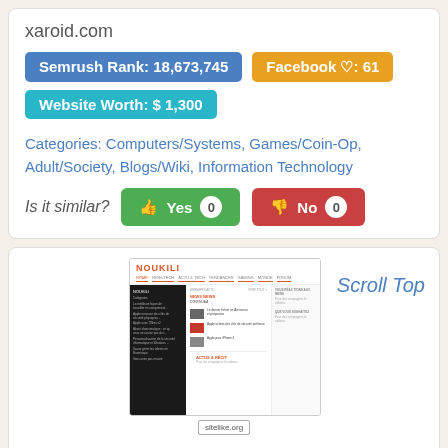xaroid.com
Semrush Rank: 18,673,745
Facebook ♡: 61
Website Worth: $ 1,300
Categories: Computers/Systems, Games/Coin-Op, Adult/Society, Blogs/Wiki, Information Technology
Is it similar?
Yes 0
No 0
[Figure (screenshot): Screenshot of noukili.com website showing the site header with NOUKILI logo, navigation bar, sidebar with dark background listing menu items, main content area with articles and thumbnail images, and right sidebar with additional links. A 'sitelike.org' badge is shown at the bottom.]
Scroll Top